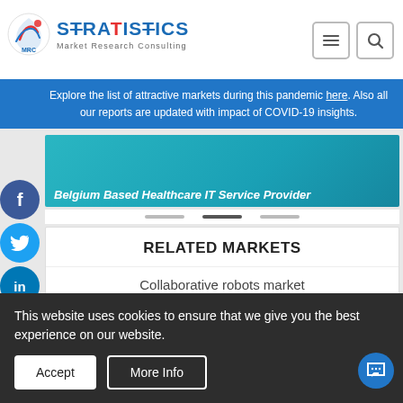Stratistics Market Research Consulting
Explore the list of attractive markets during this pandemic here. Also all our reports are updated with impact of COVID-19 insights.
Belgium Based Healthcare IT Service Provider
RELATED MARKETS
Collaborative robots market
Human machine interface hmi market
Advanced operating infrastructure market
dispenser market
This website uses cookies to ensure that we give you the best experience on our website.
Accept   More Info